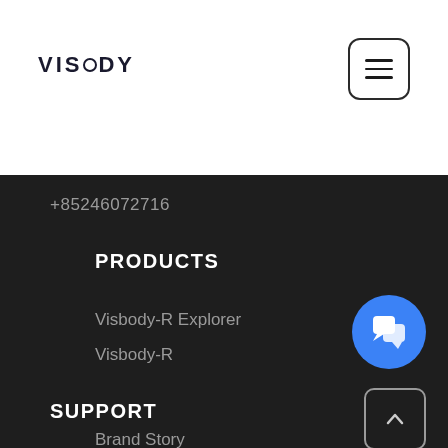VISBODY
+85246072716
PRODUCTS
Visbody-R Explorer
Visbody-R
SUPPORT
Brand Story